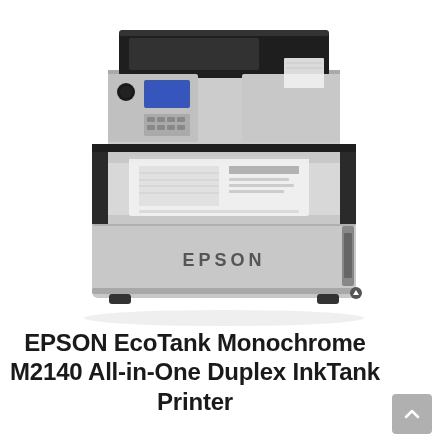[Figure (photo): Epson EcoTank Monochrome M2140 All-in-One Duplex InkTank Printer product photo showing the printer in light gray and black color with open scanner lid, control panel, and a printed document in the output tray. The word EPSON is printed on the front of the printer body.]
EPSON EcoTank Monochrome M2140 All-in-One Duplex InkTank Printer